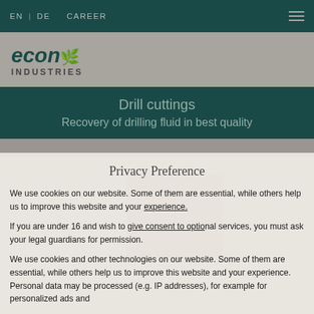EN | DE   CAREER
[Figure (logo): econ Industries logo with green leaf icon and bold green/dark teal text]
Drill cuttings
Recovery of drilling fluid in best quality
Privacy Preference
We use cookies on our website. Some of them are essential, while others help us to improve this website and your experience.
If you are under 16 and wish to give consent to optional services, you must ask your legal guardians for permission.
We use cookies and other technologies on our website. Some of them are essential, while others help us to improve this website and your experience. Personal data may be processed (e.g. IP addresses), for example for personalized ads and